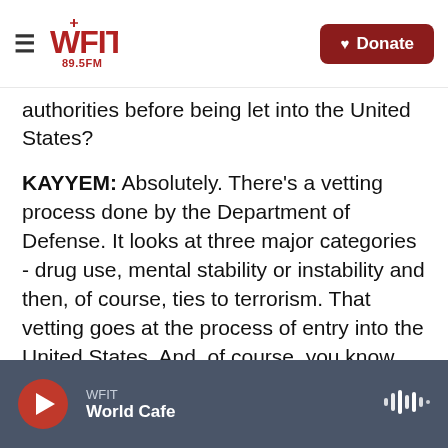WFIT 89.5FM — Donate
authorities before being let into the United States?
KAYYEM: Absolutely. There's a vetting process done by the Department of Defense. It looks at three major categories - drug use, mental stability or instability and then, of course, ties to terrorism. That vetting goes at the process of entry into the United States. And, of course, you know, we work with a country like Saudi Arabia to learn more about him. That vetting is not recurring. And so once he's in, he's in.
So we're both dependent on Saudi Arabia in terms of the information they give us about that individual
WFIT — World Cafe